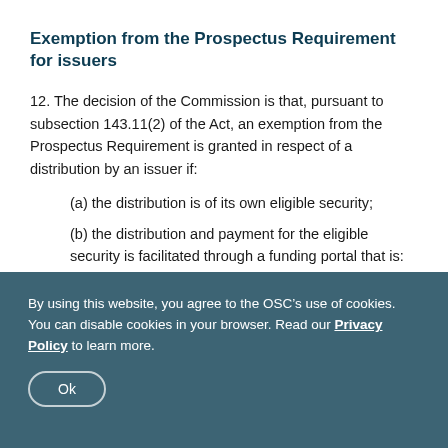Exemption from the Prospectus Requirement for issuers
12. The decision of the Commission is that, pursuant to subsection 143.11(2) of the Act, an exemption from the Prospectus Requirement is granted in respect of a distribution by an issuer if:
(a) the distribution is of its own eligible security;
(b) the distribution and payment for the eligible security is facilitated through a funding portal that is:
By using this website, you agree to the OSC’s use of cookies. You can disable cookies in your browser. Read our Privacy Policy to learn more.